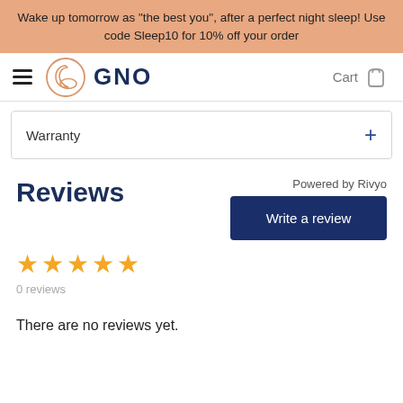Wake up tomorrow as "the best you", after a perfect night sleep! Use code Sleep10 for 10% off your order
[Figure (logo): GNO brand logo with crescent moon and pillow icon, hamburger menu, and cart icon in navigation bar]
Warranty
Reviews
Powered by Rivyo
[Figure (infographic): Five gold stars rating display with 0 reviews count]
Write a review
There are no reviews yet.